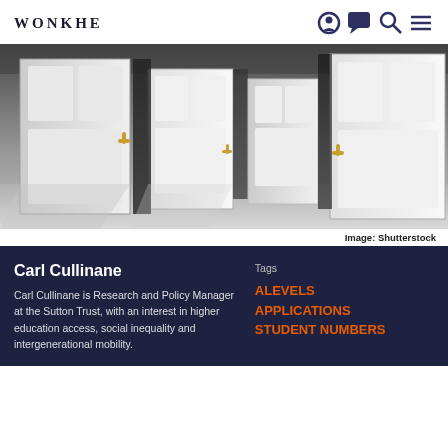WONKHE
[Figure (photo): Multiple white doors open in a dimly lit corridor, viewed from low angle. Gold handles visible. Photographic illustration of multiple open doors.]
Image: Shutterstock
Carl Cullinane
Carl Cullinane is Research and Policy Manager at the Sutton Trust, with an interest in higher education access, social inequality and intergenerational mobility.
Tags
ALEVELS
APPLICATIONS
STUDENT NUMBERS